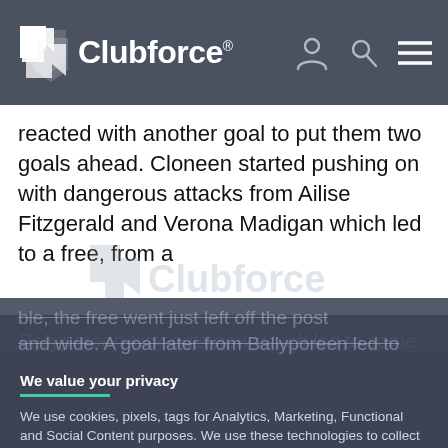Clubforce®
reacted with another goal to put them two goals ahead. Cloneen started pushing on with dangerous attacks from Ailise Fitzgerald and Verona Madigan which led to a free, from a
ble, the free went just left off the post and wide. A goal later from Ballyporeen led to
We value your privacy

We use cookies, pixels, tags for Analytics, Marketing, Functional and Social Content purposes. We use these technologies to collect your device and browser information for required purposes (e.g. security, sign-up and logging in). We may share this data with third parties - including advertising partners like Google for Marketing purposes. By clicking "Accept All", you consent to the use of ALL the cookies. Please visit our for more information.
ACCEPT ALL
COOKIE SETTINGS
Ballyporeen kick-outs now which led to some the half backline and kicked the ball up to Ailise Fitzgerald and she passed it off to Verona